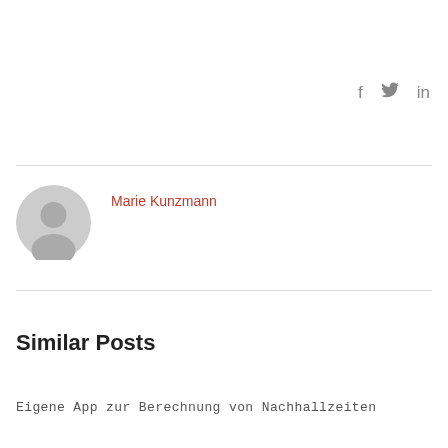[Figure (other): Social media icons: f (Facebook), bird (Twitter), in (LinkedIn)]
[Figure (illustration): Circular avatar placeholder icon with gray background showing a generic user silhouette]
Marie Kunzmann
Similar Posts
Eigene App zur Berechnung von Nachhallzeiten